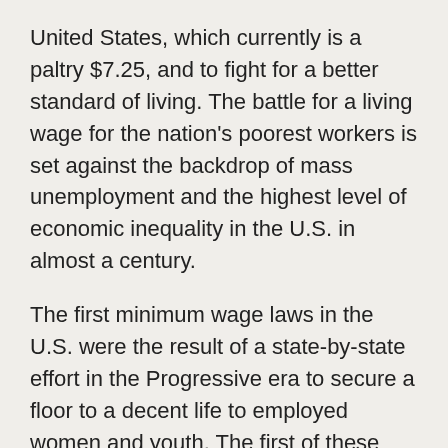United States, which currently is a paltry $7.25, and to fight for a better standard of living. The battle for a living wage for the nation's poorest workers is set against the backdrop of mass unemployment and the highest level of economic inequality in the U.S. in almost a century.
The first minimum wage laws in the U.S. were the result of a state-by-state effort in the Progressive era to secure a floor to a decent life to employed women and youth. The first of these was enacted in Massachusetts in 1912 and eventually led to the 1938 Fair Labor Standards Act, which instituted a minimum wage at the federal level.
The objective was fairness, economics opportunity, stability, and social cohesion. The problem was the unequal power between labor and capital—a rationale that even early neoclassical economists embraced on the grounds that it constrained labor's bargaining power and